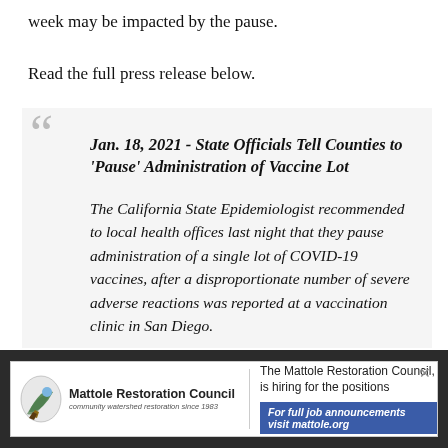week may be impacted by the pause.
Read the full press release below.
Jan. 18, 2021 - State Officials Tell Counties to 'Pause' Administration of Vaccine Lot

The California State Epidemiologist recommended to local health offices last night that they pause administration of a single lot of COVID-19 vaccines, after a disproportionate number of severe adverse reactions was reported at a vaccination clinic in San Diego.

The lot, Moderna 041L20A, consists of 330,000
[Figure (infographic): Advertisement banner for Mattole Restoration Council showing organization logo, name, tagline 'community watershed restoration since 1983', text 'The Mattole Restoration Council, is hiring for the positions', and a blue button reading 'For full job announcements visit mattole.org']